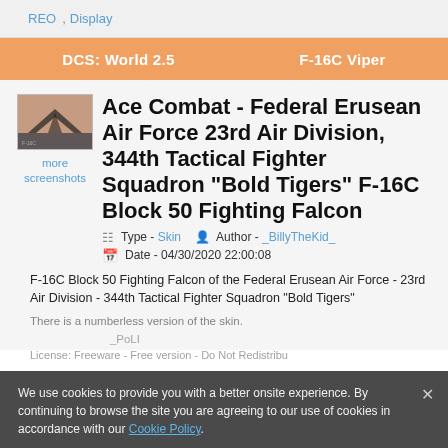REO, Display
DCS: World 2.5    F-16C Viper
[Figure (photo): Thumbnail image of an F-16C fighter jet skin, with orange-tinted cover art]
more screenshots
Ace Combat - Federal Erusean Air Force 23rd Air Division, 344th Tactical Fighter Squadron "Bold Tigers" F-16C Block 50 Fighting Falcon
Type - Skin    Author - _BillyTheKid_
Date - 04/30/2020 22:00:08
F-16C Block 50 Fighting Falcon of the Federal Erusean Air Force - 23rd Air Division - 344th Tactical Fighter Squadron "Bold Tigers"
There is a numberless version of the skin.
License: Freeware - Free version - Do Not Redistribu
We use cookies to provide you with a better onsite experience. By continuing to browse the site you are agreeing to our use of cookies in accordance with our Cookie Policy.